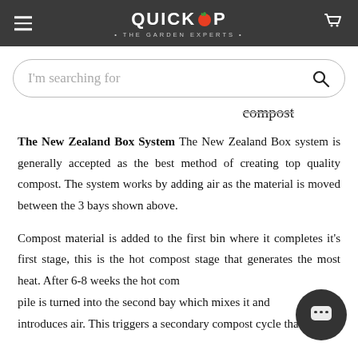QUICKCROP • THE GARDEN EXPERTS •
I'm searching for
compost
The New Zealand Box System The New Zealand Box system is generally accepted as the best method of creating top quality compost. The system works by adding air as the material is moved between the 3 bays shown above.
Compost material is added to the first bin where it completes it's first stage, this is the hot compost stage that generates the most heat. After 6-8 weeks the hot com pile is turned into the second bay which mixes it and introduces air. This triggers a secondary compost cycle that